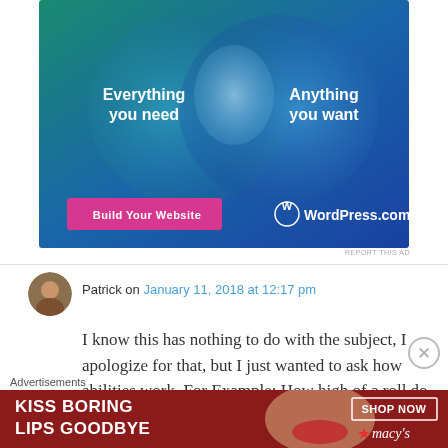[Figure (illustration): WordPress.com advertisement with Venn diagram circles showing 'Everything you need' and 'Anything you want', with 'Build Your Website' pink button and WordPress.com logo on dark teal/blue gradient background.]
REPORT THIS AD
Patrick on January 11, 2018 at 12:17 pm
I know this has nothing to do with the subject, I apologize for that, but I just wanted to ask how abilities work. For Example: How high of a roll do
Advertisements
[Figure (illustration): Macy's advertisement: 'KISS BORING LIPS GOODBYE' with SHOP NOW button and Macy's star logo on dark red background with model's face.]